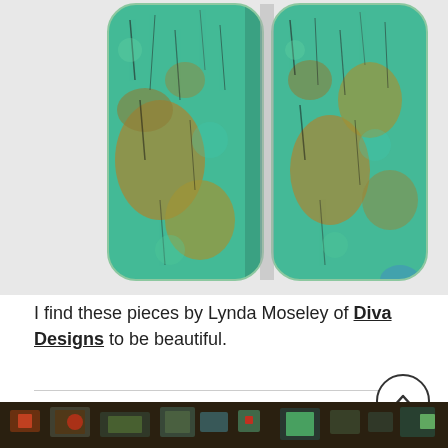[Figure (photo): Two elongated rectangular dichroic glass or enamel pieces with colorful patina texture showing teal, turquoise, orange, gold, and black patterns, photographed on a white background side by side.]
I find these pieces by Lynda Moseley of Diva Designs to be beautiful.
[Figure (photo): Partial view of another jewelry or craft piece at the bottom of the page, showing colorful enamel or mosaic work with red and green elements on a dark background.]